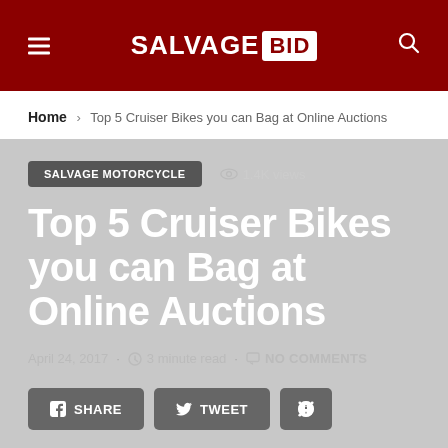SALVAGEBID
Home › Top 5 Cruiser Bikes you can Bag at Online Auctions
SALVAGE MOTORCYCLE · 1.4K views
Top 5 Cruiser Bikes you can Bag at Online Auctions
April 24, 2017 · 3 minute read · NO COMMENTS
SHARE  TWEET  [Pinterest]